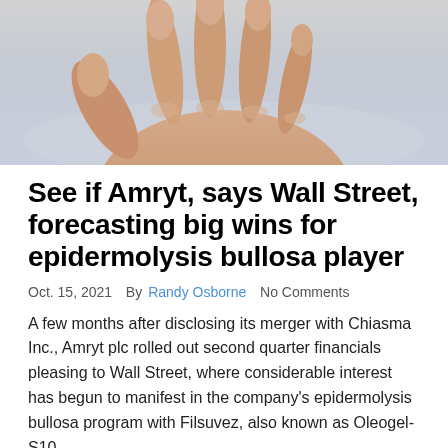[Figure (photo): Close-up photo of a hand resting on a light blue/grey surface, showing fingers from above]
See if Amryt, says Wall Street, forecasting big wins for epidermolysis bullosa player
Oct. 15, 2021  By Randy Osborne  No Comments
A few months after disclosing its merger with Chiasma Inc., Amryt plc rolled out second quarter financials pleasing to Wall Street, where considerable interest has begun to manifest in the company's epidermolysis bullosa program with Filsuvez, also known as Oleogel-S10.
Read More